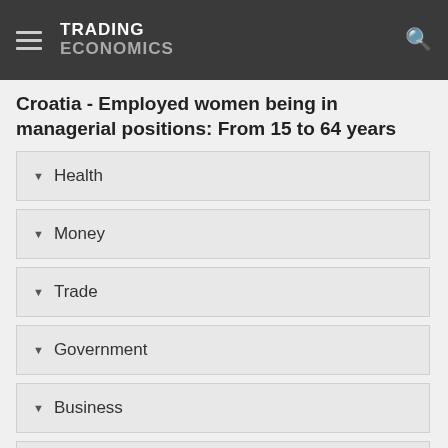TRADING ECONOMICS
Croatia - Employed women being in managerial positions: From 15 to 64 years
Health
Money
Trade
Government
Business
Consumer
Housing